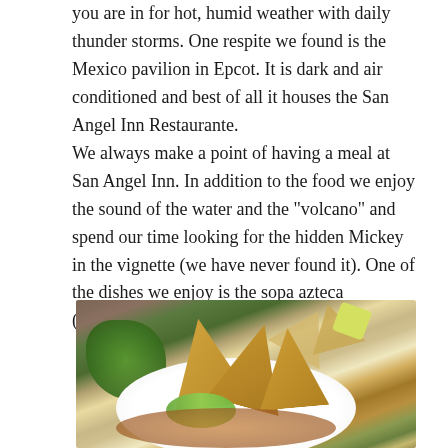you are in for hot, humid weather with daily thunder storms. One respite we found is the Mexico pavilion in Epcot. It is dark and air conditioned and best of all it houses the San Angel Inn Restaurante.
We always make a point of having a meal at San Angel Inn. In addition to the food we enjoy the sound of the water and the "volcano" and spend our time looking for the hidden Mickey in the vignette (we have never found it). One of the dishes we enjoy is the sopa azteca (traditional tortilla soup).
[Figure (photo): A bowl of sopa azteca (traditional tortilla soup) on a white plate with tortilla chips, avocado slices, cilantro, and lime wedges on a wooden background.]